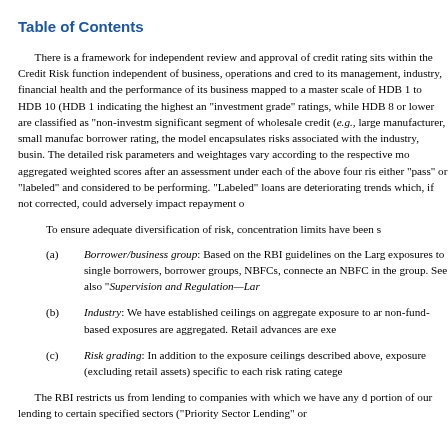Table of Contents
There is a framework for independent review and approval of credit rating sits within the Credit Risk function independent of business, operations and cred to its management, industry, financial health and the performance of its business mapped to a master scale of HDB 1 to HDB 10 (HDB 1 indicating the highest an "investment grade" ratings, while HDB 8 or lower are classified as "non-investm significant segment of wholesale credit (e.g., large manufacturer, small manufac borrower rating, the model encapsulates risks associated with the industry, busin. The detailed risk parameters and weightages vary according to the respective mo aggregated weighted scores after an assessment under each of the above four ris either "pass" or "labeled" and considered to be performing. "Labeled" loans are deteriorating trends which, if not corrected, could adversely impact repayment o
To ensure adequate diversification of risk, concentration limits have been s
Borrower/business group: Based on the RBI guidelines on the Larg exposures to single borrowers, borrower groups, NBFCs, connecte an NBFC in the group. See also "Supervision and Regulation—Lar
Industry: We have established ceilings on aggregate exposure to ar non-fund-based exposures are aggregated. Retail advances are exe
Risk grading: In addition to the exposure ceilings described above, exposure (excluding retail assets) specific to each risk rating catege
The RBI restricts us from lending to companies with which we have any d portion of our lending to certain specified sectors ("Priority Sector Lending" or